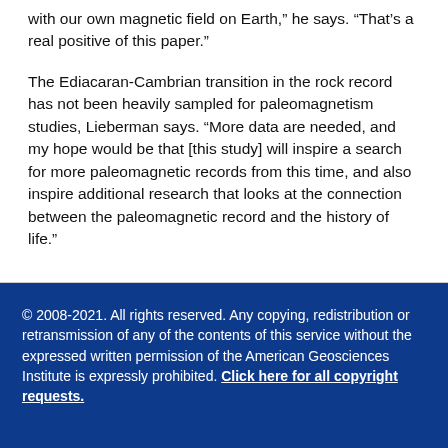with our own magnetic field on Earth,” he says. “That’s a real positive of this paper.”
The Ediacaran-Cambrian transition in the rock record has not been heavily sampled for paleomagnetism studies, Lieberman says. “More data are needed, and my hope would be that [this study] will inspire a search for more paleomagnetic records from this time, and also inspire additional research that looks at the connection between the paleomagnetic record and the history of life.”
© 2008-2021. All rights reserved. Any copying, redistribution or retransmission of any of the contents of this service without the expressed written permission of the American Geosciences Institute is expressly prohibited. Click here for all copyright requests.